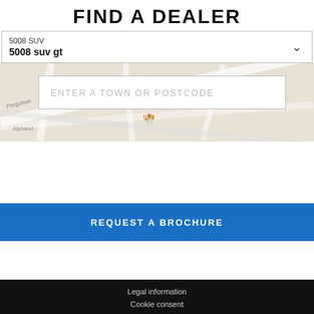FIND A DEALER
5008 SUV
5008 suv gt
[Figure (map): Street map background showing Paris streets including Pergolese and Alphand, with a restaurant icon marker. A text input box overlay reads ENTER A TOWN OR POSTCODE.]
REQUEST A BROCHURE
Legal information
Cookie consent